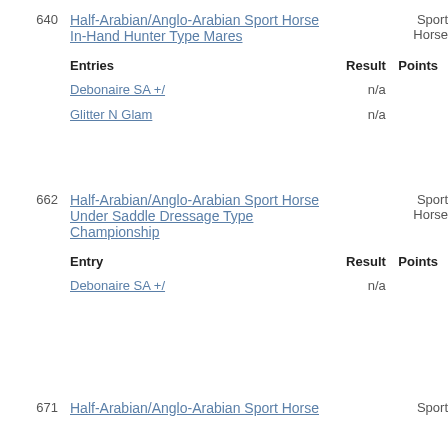640 Half-Arabian/Anglo-Arabian Sport Horse In-Hand Hunter Type Mares  Sport Horse
| Entries | Result | Points |
| --- | --- | --- |
| Debonaire SA +/ | n/a |  |
| Glitter N Glam | n/a |  |
662 Half-Arabian/Anglo-Arabian Sport Horse Under Saddle Dressage Type Championship  Sport Horse
| Entry | Result | Points |
| --- | --- | --- |
| Debonaire SA +/ | n/a |  |
671 Half-Arabian/Anglo-Arabian Sport Horse  Sport